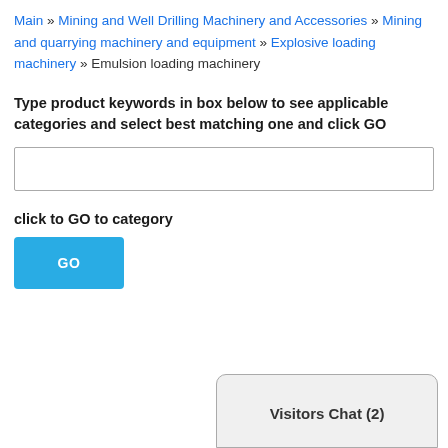Main » Mining and Well Drilling Machinery and Accessories » Mining and quarrying machinery and equipment » Explosive loading machinery » Emulsion loading machinery
Type product keywords in box below to see applicable categories and select best matching one and click GO
click to GO to category
[Figure (screenshot): GO button - a cyan/blue rectangular button with white bold text 'GO']
[Figure (screenshot): Visitors Chat (2) - a chat widget box at the bottom right with rounded top corners]